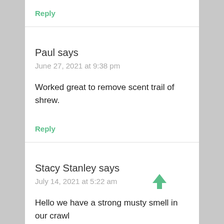Reply
Paul says
June 27, 2021 at 9:38 pm
Worked great to remove scent trail of shrew.
Reply
Stacy Stanley says
July 14, 2021 at 5:22 am
Hello we have a strong musty smell in our crawl